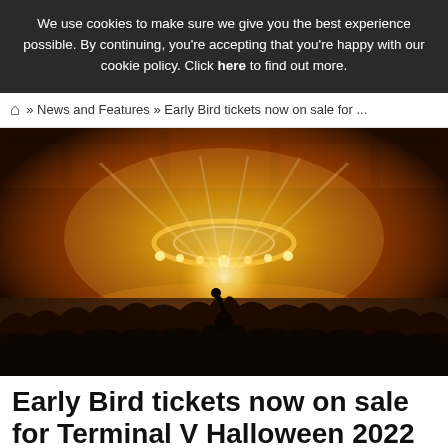We use cookies to make sure we give you the best experience possible. By continuing, you're accepting that you're happy with our cookie policy. Click here to find out more.
» News and Features » Early Bird tickets now on sale for ...
[Figure (photo): Concert venue with bright orange/yellow stage lighting, crowd of people in foreground with silhouettes, large circular lighting rig above stage]
Early Bird tickets now on sale for Terminal V Halloween 2022